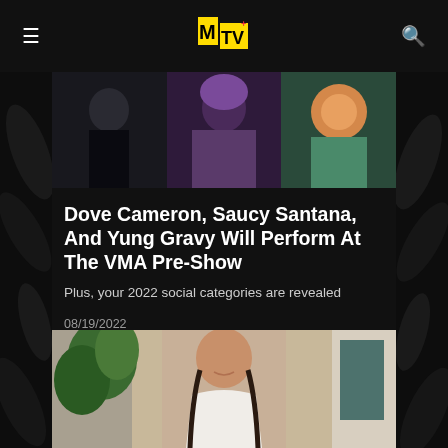MTV
[Figure (photo): Three-panel hero image showing performers: person in black outfit on left, person with purple hair in middle, colorful illustrated figure on right]
Dove Cameron, Saucy Santana, And Yung Gravy Will Perform At The VMA Pre-Show
Plus, your 2022 social categories are revealed
08/19/2022
[Figure (photo): Young woman with long braided pigtails wearing a white halter top, seated indoors with plants and decorative elements in the background]